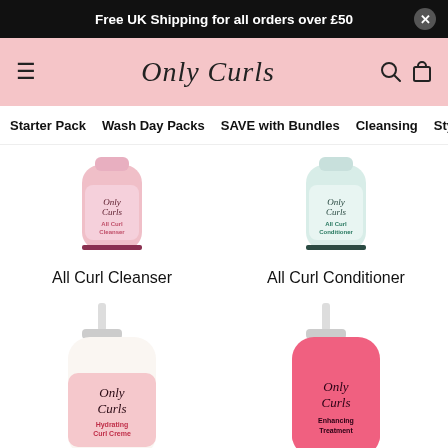Free UK Shipping for all orders over £50
[Figure (logo): Only Curls script logo on pink header bar with hamburger menu, search and bag icons]
Starter Pack  Wash Day Packs  SAVE with Bundles  Cleansing  Styling  Fra...
[Figure (photo): All Curl Cleanser product bottle - pink label]
[Figure (photo): All Curl Conditioner product bottle - mint/white label]
All Curl Cleanser
All Curl Conditioner
[Figure (photo): Only Curls Hydrating Curl Creme bottle with pump - white and pink label]
[Figure (photo): Only Curls Enhancing product bottle with pump - bright pink label]